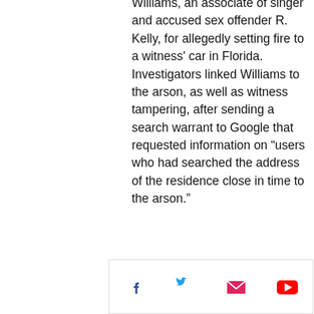Williams, an associate of singer and accused sex offender R. Kelly, for allegedly setting fire to a witness' car in Florida. Investigators linked Williams to the arson, as well as witness tampering, after sending a search warrant to Google that requested information on “users who had searched the address of the residence close in time to the arson.”
The July court filing was unsealed on Tuesday. Detroit News reporter Robert Snell tweeted about the filing after it was unsealed.
Court documents showed that Google provided the IP addresses of people who searched for the arson victim’s address
[Figure (infographic): Social media sharing icons bar: Facebook (blue), Twitter (cyan), Email (pink/red envelope), YouTube (red)]